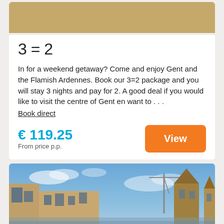[Figure (photo): Gold/tan colored banner image at top of card]
3 = 2
In for a weekend getaway? Come and enjoy Gent and the Flamish Ardennes. Book our 3=2 package and you will stay 3 nights and pay for 2. A good deal if you would like to visit the centre of Gent en want to . . .
Book direct
€ 119.25
From price p.p.
[Figure (photo): City skyline photo of Gent at dusk with historic buildings and blue sky]